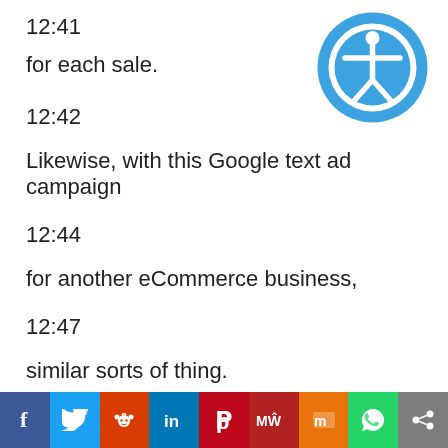12:41
for each sale.
[Figure (illustration): Accessibility icon: blue circle with white person figure with arms outstretched]
12:42
Likewise, with this Google text ad campaign
12:44
for another eCommerce business,
12:47
similar sorts of thing.
12:48
[Figure (infographic): Social sharing bar with buttons: Facebook (blue), Twitter (light blue), Reddit (orange-red), LinkedIn (dark blue), Pinterest (red), MeWe (dark red), Mix (orange), WhatsApp (green), Share (gray)]